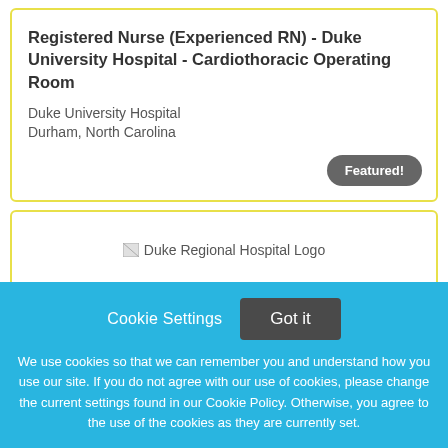Registered Nurse (Experienced RN) - Duke University Hospital - Cardiothoracic Operating Room
Duke University Hospital
Durham, North Carolina
Featured!
[Figure (logo): Duke Regional Hospital Logo placeholder image]
Cookie Settings
Got it
We use cookies so that we can remember you and understand how you use our site. If you do not agree with our use of cookies, please change the current settings found in our Cookie Policy. Otherwise, you agree to the use of the cookies as they are currently set.